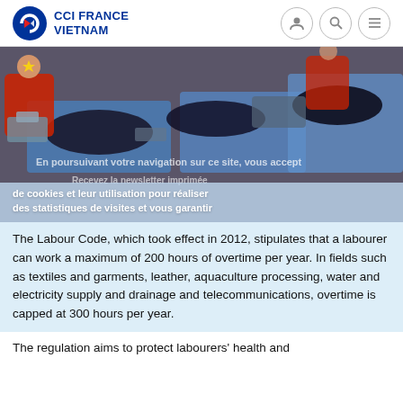CCI FRANCE VIETNAM
[Figure (photo): Workers in a garment/textile factory sewing dark fabric at blue industrial sewing tables, wearing red uniforms with Vietnam flag emblems.]
En poursuivant votre navigation sur ce site, vous acceptez l'utilisation de cookies et leur utilisation pour réaliser des statistiques de visites et vous garantir un meilleur plan d'utilisation. Consultez nos mentions légales
The Labour Code, which took effect in 2012, stipulates that a labourer can work a maximum of 200 hours of overtime per year. In fields such as textiles and garments, leather, aquaculture processing, water and electricity supply and drainage and telecommunications, overtime is capped at 300 hours per year.
The regulation aims to protect labourers' health and